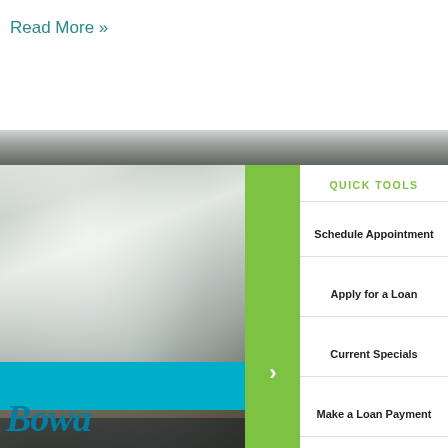Read More »
[Figure (photo): Blurred close-up photo of coins and objects on a surface]
QUICK TOOLS
Schedule Appointment
Apply for a Loan
Current Specials
Make a Loan Payment
Bow...